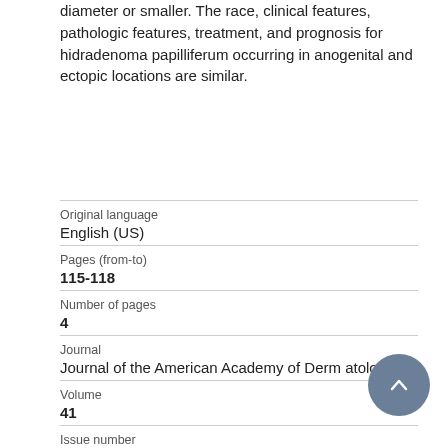diameter or smaller. The race, clinical features, pathologic features, treatment, and prognosis for hidradenoma papilliferum occurring in anogenital and ectopic locations are similar.
| Field | Value |
| --- | --- |
| Original language | English (US) |
| Pages (from-to) | 115-118 |
| Number of pages | 4 |
| Journal | Journal of the American Academy of Dermatology |
| Volume | 41 |
| Issue number |  |